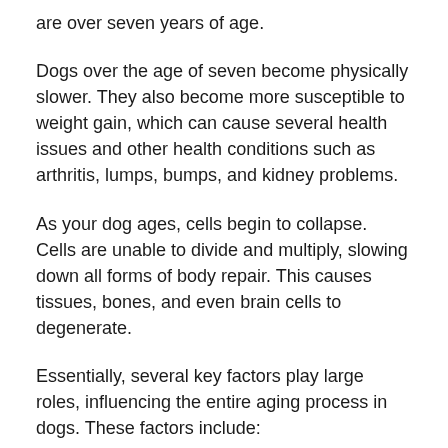are over seven years of age.
Dogs over the age of seven become physically slower. They also become more susceptible to weight gain, which can cause several health issues and other health conditions such as arthritis, lumps, bumps, and kidney problems.
As your dog ages, cells begin to collapse. Cells are unable to divide and multiply, slowing down all forms of body repair. This causes tissues, bones, and even brain cells to degenerate.
Essentially, several key factors play large roles, influencing the entire aging process in dogs. These factors include: